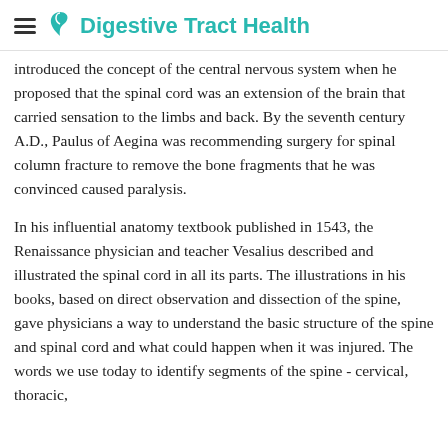Digestive Tract Health
introduced the concept of the central nervous system when he proposed that the spinal cord was an extension of the brain that carried sensation to the limbs and back. By the seventh century A.D., Paulus of Aegina was recommending surgery for spinal column fracture to remove the bone fragments that he was convinced caused paralysis.
In his influential anatomy textbook published in 1543, the Renaissance physician and teacher Vesalius described and illustrated the spinal cord in all its parts. The illustrations in his books, based on direct observation and dissection of the spine, gave physicians a way to understand the basic structure of the spine and spinal cord and what could happen when it was injured. The words we use today to identify segments of the spine - cervical, thoracic, lumbar, and sacral - come directly from